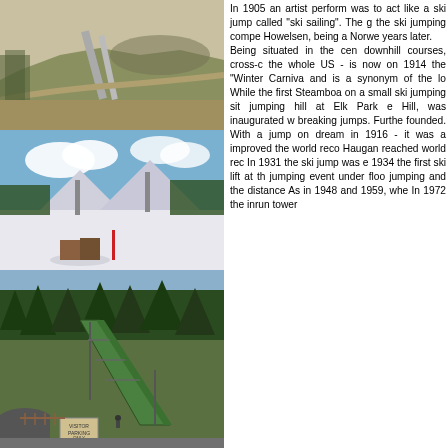[Figure (photo): Aerial or elevated view of a ski jump hill and surrounding terrain, summer/fall, showing the ramp and slopes with dried grass and dirt roads.]
[Figure (photo): Winter aerial view of ski jumping hills with snow, showing multiple jumps and ski slopes with trees in background and blue sky.]
[Figure (photo): Summer view of a large ski jump ramp (inrun and landing hill) with green trees and a parking area with a covered structure at the bottom.]
In 1905 an artist perform was to act like a ski jump called "ski sailing". The g the ski jumping compe Howelsen, being a Norwe years later. Being situated in the cen downhill courses, cross-c the whole US - is now on 1914 the "Winter Carniva and is a synonym of the lo While the first Steamboa on a small ski jumping sit jumping hill at Elk Park e Hill, was inaugurated w breaking jumps. Furthe founded. With a jump on dream in 1916 - it was a improved the world reco Haugan reached world rec In 1931 the ski jump was e 1934 the first ski lift at th jumping event under floo jumping and the distance As in 1948 and 1959, whe In 1972 the inrun tower